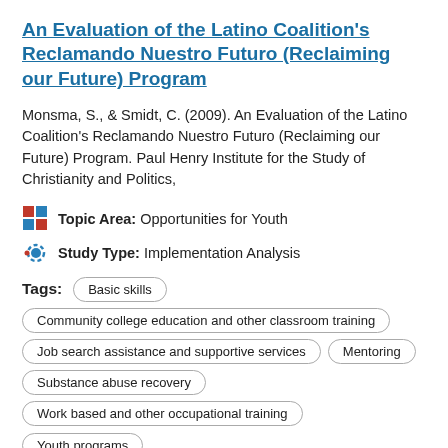An Evaluation of the Latino Coalition's Reclamando Nuestro Futuro (Reclaiming our Future) Program
Monsma, S., & Smidt, C. (2009). An Evaluation of the Latino Coalition's Reclamando Nuestro Futuro (Reclaiming our Future) Program. Paul Henry Institute for the Study of Christianity and Politics,
Topic Area: Opportunities for Youth
Study Type: Implementation Analysis
Tags: Basic skills
Community college education and other classroom training
Job search assistance and supportive services
Mentoring
Substance abuse recovery
Work based and other occupational training
Youth programs